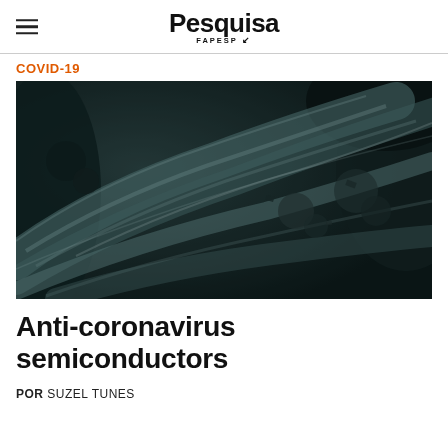Pesquisa FAPESP
COVID-19
[Figure (photo): Scanning electron microscope (SEM) image of fibrous material, shown in dark teal/grey tones, with fibrous strands running diagonally across the frame with rough, granular textures and organic-looking surface details.]
Anti-coronavirus semiconductors
POR SUZEL TUNES